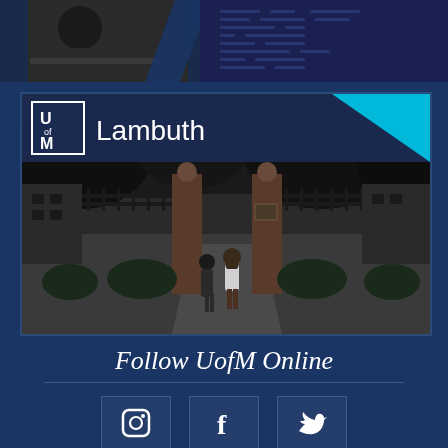[Figure (photo): Top banner image showing student studying and a data/code overlay on dark blue background]
[Figure (photo): UofM Lambuth campus card: logo with UofM Lambuth branding header in dark blue with cyan triangle accent, below is a black and white photo of the Lambuth campus gate with two students walking through ornate brick gate and iron fence, trees overhead]
Follow UofM Online
[Figure (infographic): Three social media icon boxes in a row: Instagram camera icon, Facebook 'f' icon, Twitter bird icon, all on dark blue square backgrounds]